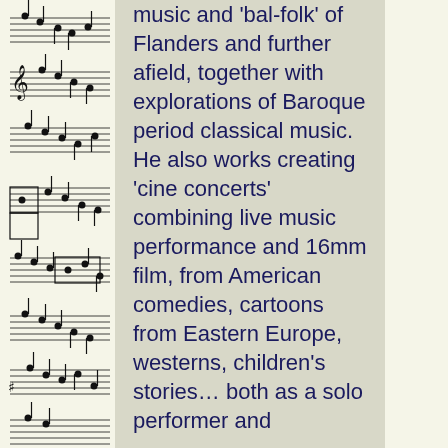[Figure (illustration): Vertical strip of handwritten or printed musical notation (sheet music) along the left margin of the page, showing multiple staves with notes, clefs, and bar lines.]
music and 'bal-folk' of Flanders and further afield, together with explorations of Baroque period classical music. He also works creating 'cine concerts' combining live music performance and 16mm film, from American comedies, cartoons from Eastern Europe, westerns, children's stories… both as a solo performer and